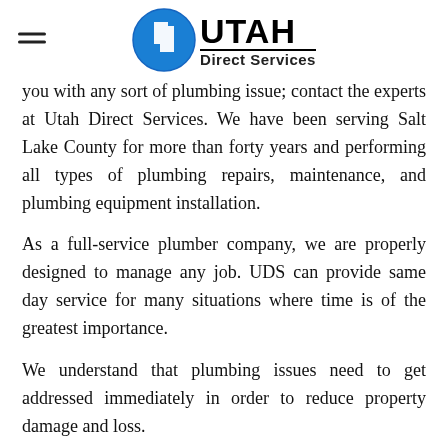[Figure (logo): Utah Direct Services logo with blue circle containing white Utah state shape, and bold text UTAH with Direct Services below, hamburger menu icon on the left]
you with any sort of plumbing issue; contact the experts at Utah Direct Services. We have been serving Salt Lake County for more than forty years and performing all types of plumbing repairs, maintenance, and plumbing equipment installation.
As a full-service plumber company, we are properly designed to manage any job. UDS can provide same day service for many situations where time is of the greatest importance.
We understand that plumbing issues need to get addressed immediately in order to reduce property damage and loss.
At Utah Direct Services, we are available 24 hours a day, 7days a week, because we know that plumbing